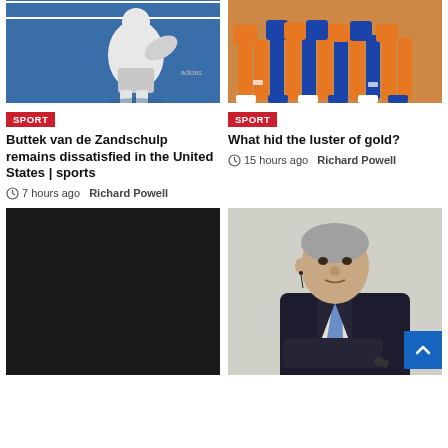[Figure (photo): Tennis player in white shirt on blue court surface]
[Figure (photo): Group of athletes in orange and blue uniforms from waist down]
SPORT
Buttek van de Zandschulp remains dissatisfied in the United States | sports
7 hours ago  Richard Powell
SPORT
What hid the luster of gold?
15 hours ago  Richard Powell
[Figure (photo): Dark/black panel, lower left article image placeholder]
[Figure (photo): Older man in dark suit with light blue tie, gray background, with blue scroll-to-top button overlay]